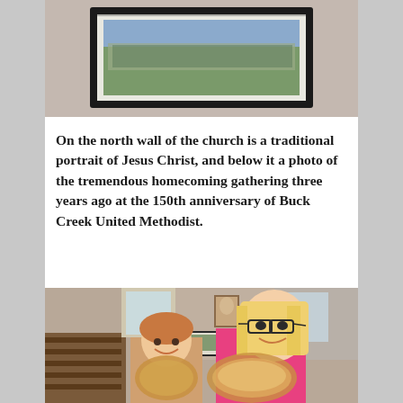[Figure (photo): Framed panoramic group photo hanging on a wall, showing a large crowd gathered outdoors — the 150th anniversary homecoming of Buck Creek United Methodist Church.]
On the north wall of the church is a traditional portrait of Jesus Christ, and below it a photo of the tremendous homecoming gathering three years ago at the 150th anniversary of Buck Creek United Methodist.
[Figure (photo): Two young girls inside a church holding decorative fan-shaped crafts. The older girl has blonde hair and glasses and wears a pink jacket. In the background are wooden pews, windows, and on the wall a portrait of Jesus Christ and the framed group photo.]